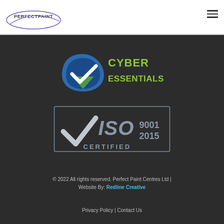[Figure (logo): PerfectPaint logo in top-left header area]
[Figure (logo): Cyber Essentials certification badge with blue/green checkmark and 'CYBER ESSENTIALS' text in lime green]
[Figure (logo): ISO 9001:2015 Certified badge with white checkmark on dark background inside a bordered rectangle]
© 2022 All rights reserved. Perfect Paint Centres Ltd | Website By: Redline Creative
Privacy Policy | Contact Us